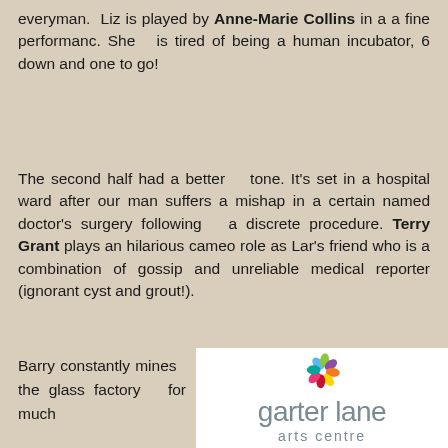everyman.  Liz is played by Anne-Marie Collins in a a fine performanc. She  is tired of being a human incubator, 6 down and one to go!
The second half had a better  tone. It's set in a hospital ward after our man suffers a mishap in a certain named doctor's surgery following  a discrete procedure. Terry Grant plays an hilarious cameo role as Lar's friend who is a combination of gossip and unreliable medical reporter (ignorant cyst and grout!).
Barry constantly mines  the glass factory  for much
[Figure (logo): Garter Lane Arts Centre logo with colourful flower made of petal shapes and grey text reading 'garter lane arts centre']